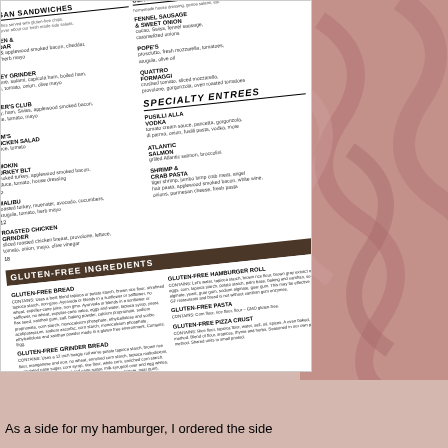[Figure (photo): Photograph of a restaurant menu showing Artisan Sandwiches section, Specialty Entrees section, and Gluten-Free Ingredients section with items listed including Chicken & Cheddar, Jersey Grinder, Baker's Club, Mom's Chicken Salad, Smokin Turkey BLT, Malibu, Roasted Chicken Grinder on left; Classic Chef, Fennel Sausage & Sweet Onion, Pope's, Quattro Formaggi, Pusilli Alla Vodka, Atlantic Salmon, Shrimp & Crab Pasta on right; and Gluten-Free Bread, Gluten-Free Grinder Bread, Gluten-Free Hamburger Roll, Gluten-Free Pasta, Gluten-Free Pizza Crust at bottom. Location footer shows Greenbrier, Hilltop, Carytown, Short Pump, Williamsburg, Shent.]
As a side for my hamburger, I ordered the side